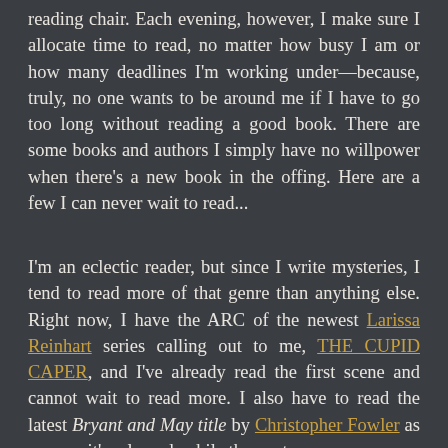reading chair. Each evening, however, I make sure I allocate time to read, no matter how busy I am or how many deadlines I'm working under—because, truly, no one wants to be around me if I have to go too long without reading a good book. There are some books and authors I simply have no willpower when there's a new book in the offing. Here are a few I can never wait to read...
I'm an eclectic reader, but since I write mysteries, I tend to read more of that genre than anything else. Right now, I have the ARC of the newest Larissa Reinhart series calling out to me, THE CUPID CAPER, and I've already read the first scene and cannot wait to read more. I also have to read the latest Bryant and May title by Christopher Fowler as soon as it's released, while the next...